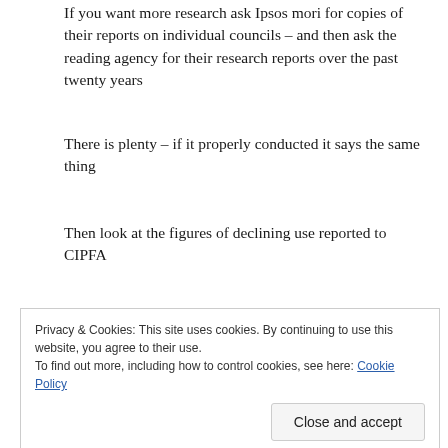If you want more research ask Ipsos mori for copies of their reports on individual councils – and then ask the reading agency for their research reports over the past twenty years
There is plenty – if it properly conducted it says the same thing
Then look at the figures of declining use reported to CIPFA
There is only one issue facing the English public library service – it has to halt the decline in use
Privacy & Cookies: This site uses cookies. By continuing to use this website, you agree to their use.
To find out more, including how to control cookies, see here: Cookie Policy
clubs will not reverse the decline in use we should